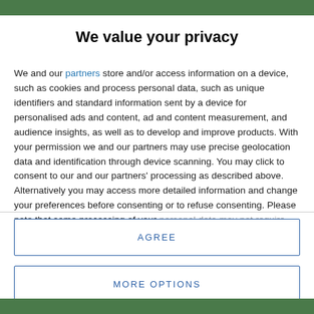[Figure (photo): Green background image strip at top of page]
We value your privacy
We and our partners store and/or access information on a device, such as cookies and process personal data, such as unique identifiers and standard information sent by a device for personalised ads and content, ad and content measurement, and audience insights, as well as to develop and improve products. With your permission we and our partners may use precise geolocation data and identification through device scanning. You may click to consent to our and our partners' processing as described above. Alternatively you may access more detailed information and change your preferences before consenting or to refuse consenting. Please note that some processing of your personal data may not require your consent, but you have a right to
AGREE
MORE OPTIONS
[Figure (photo): Green background image strip at bottom of page]